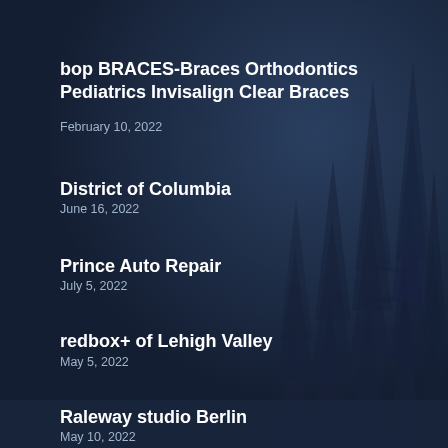bop BRACES-Braces Orthodontics Pediatrics Invisalign Clear Braces
February 10, 2022
District of Columbia
June 16, 2022
Prince Auto Repair
July 5, 2022
redbox+ of Lehigh Valley
May 5, 2022
Raleway studio Berlin
May 10, 2022